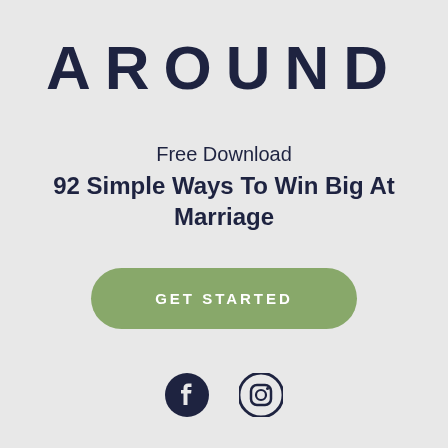AROUND
Free Download
92 Simple Ways To Win Big At Marriage
[Figure (other): Green pill-shaped button with text GET STARTED in white uppercase letters]
[Figure (other): Facebook and Instagram social media icons in dark navy color]